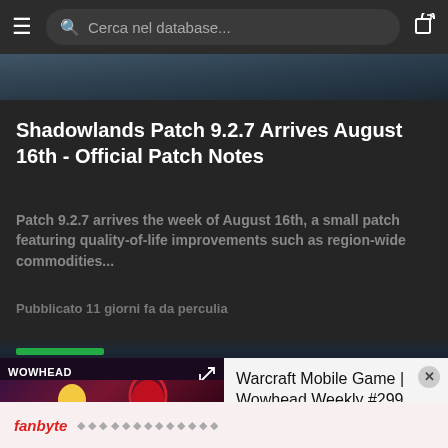Cerca nel database...
[Figure (screenshot): Partial hero image of a dark game scene at the top of the article card]
Shadowlands Patch 9.2.7 Arrives August 16th - Official Patch Notes
Patch 9.2.7 arrives the week of August 16th, a small patch featuring quality-of-life improvements such as region-wide commodities...
Pubblicato 11 giorni fa da perculia
[Figure (screenshot): Wowhead Weekly #299 video thumbnail showing animated characters and the episode number #299]
Warcraft Mobile Game | Wowhead Weekly #299
fanbyte